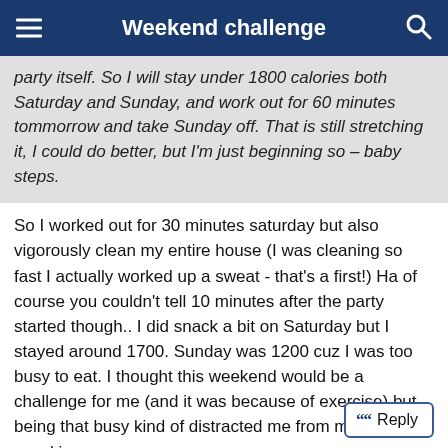Weekend challenge
party itself. So I will stay under 1800 calories both Saturday and Sunday, and work out for 60 minutes tommorrow and take Sunday off. That is still stretching it, I could do better, but I'm just beginning so – baby steps.
So I worked out for 30 minutes saturday but also vigorously clean my entire house (I was cleaning so fast I actually worked up a sweat - that's a first!) Ha of course you couldn't tell 10 minutes after the party started though.. I did snack a bit on Saturday but I stayed around 1700. Sunday was 1200 cuz I was too busy to eat. I thought this weekend would be a challenge for me (and it was because of exercise) but being that busy kind of distracted me from my usual snacking.
You are all inspiring me to do better though, it seems like most of you met your goals and that is great!